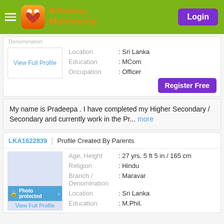[Figure (logo): SriLankan Matrimony app header with logo, brand name, hamburger menu, and Login button]
Denomination
View Full Profile
Location : Sri Lanka
Education : MCom
Occupation : Officer
Register Free
My name is Pradeepa . I have completed my Higher Secondary / Secondary and currently work in the Pr... more
LKA1622839 | Profile Created By Parents
Age, Height : 27 yrs, 5 ft 5 in / 165 cm
Religion : Hindu
Branch / Denomination : Maravar
Location : Sri Lanka
Education : M.Phil.
Photo protected
View Full Profile